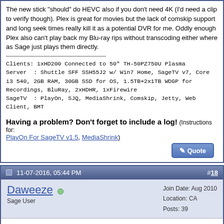The new stick "should" do HEVC also if you don't need 4K (I'd need a clip to verify though). Plex is great for movies but the lack of comskip support and long seek times really kill it as a potential DVR for me. Oddly enough Plex also can't play back my Blu-ray rips without transcoding either where as Sage just plays them directly.
Clients: 1xHD200 Connected to 50" TH-50PZ750U Plasma
Server : Shuttle SFF SSH55J2 w/ Win7 Home, SageTV v7, Core i3 540, 2GB RAM, 30GB SSD for OS, 1.5TB+2x1TB WDGP for Recordings, BluRay, 2xHDHR, 1xFirewire
SageTV : PlayOn, SJQ, MediaShrink, Comskip, Jetty, Web Client, BMT
Having a problem? Don't forget to include a log! (Instructions for: PlayOn For SageTV v1.5, MediaShrink)
11-07-2016, 05:44 PM
#18
Daweeze
Sage User
Join Date: Aug 2010
Location: CA
Posts: 39
Quote:
Originally Posted by evilpenguin
...Plex is great for movies but the lack of comskip support and long seek times really kill it as a potential DVR for me. Oddly enough Plex also can't play back my Blu-ray rips without transcoding either where as Sage just plays them directly.